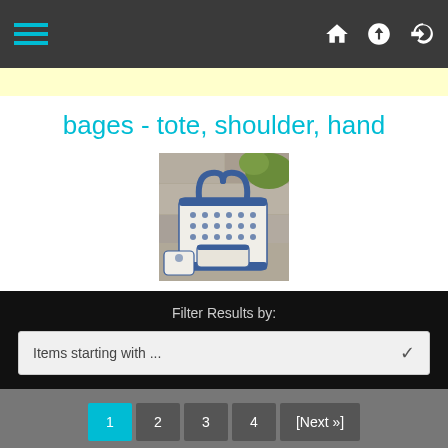[Figure (screenshot): Navigation bar with hamburger menu (teal lines), home icon, upload icon, and login icon on dark background]
[Figure (photo): Product image of a blue and white patterned tote bag with a small pouch, set against a stone background]
bages - tote, shoulder, hand
Filter Results by:
Items starting with ...
1  2  3  4  [Next »]
Displaying 1 to 10 (of 39 products)
add selected products to cart